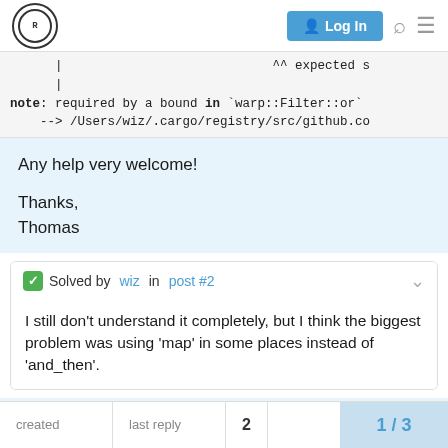Rust Forum — Log In
|
      |
note: required by a bound in `warp::Filter::or`
    --> /Users/wiz/.cargo/registry/src/github.co
Any help very welcome!

Thanks,
Thomas
✅ Solved by wiz in post #2
I still don't understand it completely, but I think the biggest problem was using 'map' in some places instead of 'and_then'.
created  last reply  2  1 / 3